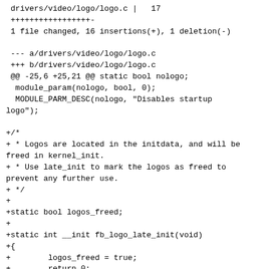drivers/video/logo/logo.c |   17
 +++++++++++++++++-
 1 file changed, 16 insertions(+), 1 deletion(-)

 --- a/drivers/video/logo/logo.c
 +++ b/drivers/video/logo/logo.c
 @@ -25,6 +25,21 @@ static bool nologo;
  module_param(nologo, bool, 0);
  MODULE_PARM_DESC(nologo, "Disables startup
logo");

 +/*
 + * Logos are located in the initdata, and will be
freed in kernel_init.
 + * Use late_init to mark the logos as freed to
prevent any further use.
 + */
 +
 +static bool logos_freed;
 +
 +static int __init fb_logo_late_init(void)
 +{
 +        logos_freed = true;
 +        return 0;
 +}
 +
 +late_initcall(fb_logo_late_init);
 +
  /* logo's are marked __initdata. Use __init_refok
to tell